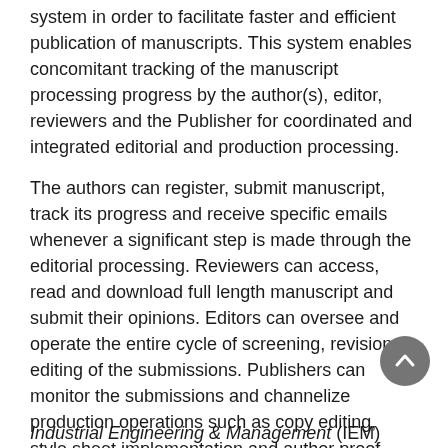system in order to facilitate faster and efficient publication of manuscripts. This system enables concomitant tracking of the manuscript processing progress by the author(s), editor, reviewers and the Publisher for coordinated and integrated editorial and production processing.
The authors can register, submit manuscript, track its progress and receive specific emails whenever a significant step is made through the editorial processing. Reviewers can access, read and download full length manuscript and submit their opinions. Editors can oversee and operate the entire cycle of screening, revisions, editing of the submissions. Publishers can monitor the submissions and channelize production operations such as copy editing, style sheet implementation and author proof generation.
To submit manuscript online please click here: www.scholarscentral.org/submissions/industrial-engineering-management.html
Industrial Engineering & Management (IEM)